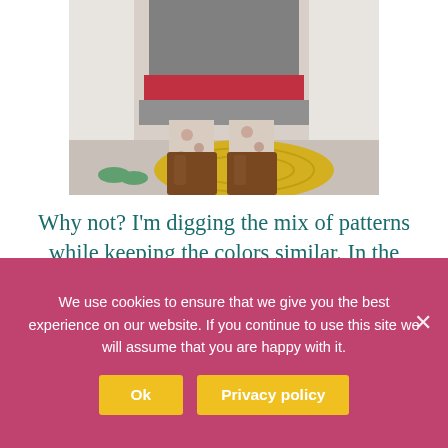[Figure (photo): Lower half of a person wearing a layered skirt with red and grey plaid/stripe pattern, floral leggings, and tall brown boots. Visible background includes a yellow floral rug and white cabinets.]
Why not? I'm digging the mix of patterns while keeping the colors similar. In the highschool yearbook I was voted most likely to wear stripes with plaid – total evidence that some things never change.
We use cookies to ensure that we give you the best experience on our website. If you continue to use this site we will assume that you are happy with it.